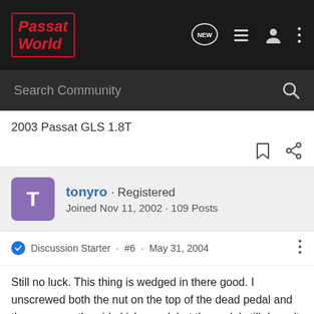Passat World — navigation bar with logo, NEW, list, user, and menu icons
Search Community
2003 Passat GLS 1.8T
tonyro · Registered
Joined Nov 11, 2002 · 109 Posts
Discussion Starter · #6 · May 31, 2004
Still no luck. This thing is wedged in there good. I unscrewed both the nut on the top of the dead pedal and the screw on the side kick panel, but the pedal still doesn't want to come out. I've slid the pedal as far up as I can, but it's still won't come loose from the side. I'm considering just leaving it alone. Maybe a dirty grey pedal isn't so bad after all. :sad: